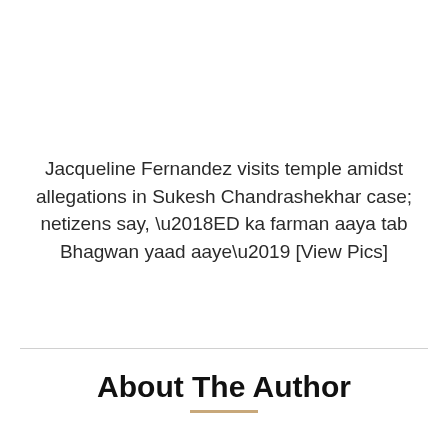Jacqueline Fernandez visits temple amidst allegations in Sukesh Chandrashekhar case; netizens say, ‘ED ka farman aaya tab Bhagwan yaad aaye’ [View Pics]
About The Author